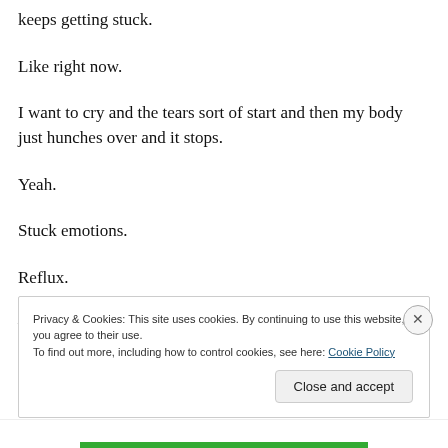keeps getting stuck.
Like right now.
I want to cry and the tears sort of start and then my body just hunches over and it stops.
Yeah.
Stuck emotions.
Reflux.
—
Privacy & Cookies: This site uses cookies. By continuing to use this website, you agree to their use. To find out more, including how to control cookies, see here: Cookie Policy
Close and accept